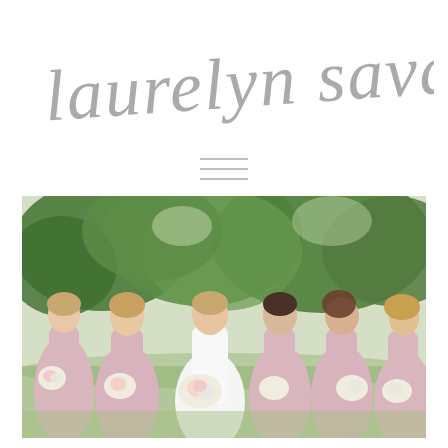laurelyn savannah
[Figure (illustration): Hamburger menu icon — three horizontal lines]
[Figure (photo): A bride in white and five bridesmaids in long blush/dusty pink dresses standing outdoors in front of lush green trees, all holding white and pink flower bouquets, smiling and laughing together.]